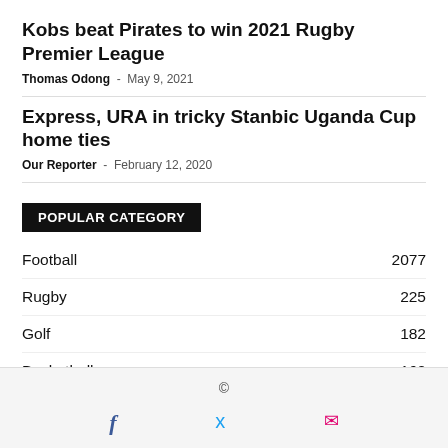Kobs beat Pirates to win 2021 Rugby Premier League
Thomas Odong - May 9, 2021
Express, URA in tricky Stanbic Uganda Cup home ties
Our Reporter - February 12, 2020
POPULAR CATEGORY
Football 2077
Rugby 225
Golf 182
Basketball 160
Cricket 119
Athletics 85
©